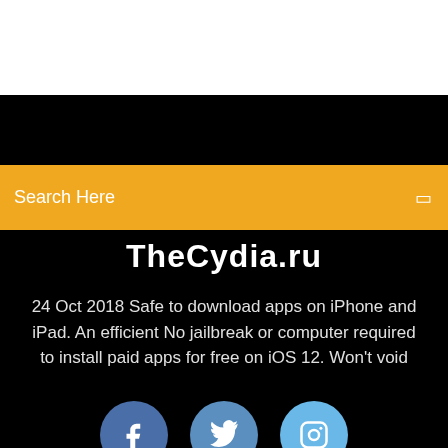Search Here
TheCydia.ru
24 Oct 2018 Safe to download apps on iPhone and iPad. An efficient No jailbreak or computer required to install paid apps for free on iOS 12. Won't void
[Figure (other): Social media icon buttons: Facebook (blue circle with f), Twitter (blue circle with bird), Instagram (light blue circle with camera icon)]